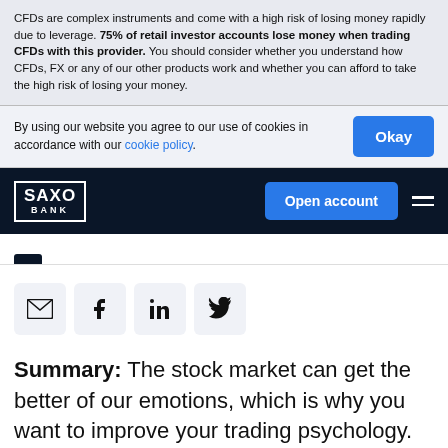CFDs are complex instruments and come with a high risk of losing money rapidly due to leverage. 75% of retail investor accounts lose money when trading CFDs with this provider. You should consider whether you understand how CFDs, FX or any of our other products work and whether you can afford to take the high risk of losing your money.
By using our website you agree to our use of cookies in accordance with our cookie policy.
[Figure (logo): Saxo Bank logo - white text on dark navy background with border]
[Figure (screenshot): Social share icons: email, Facebook, LinkedIn, Twitter]
Summary: The stock market can get the better of our emotions, which is why you want to improve your trading psychology. This article explores this branch of